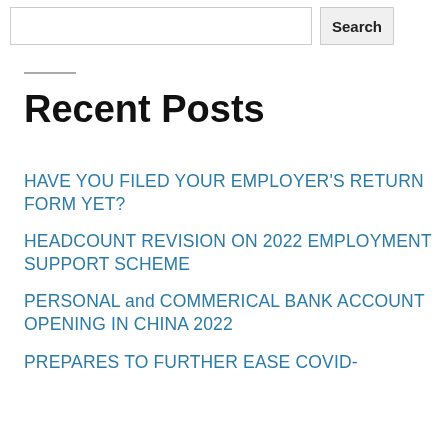Search
Recent Posts
HAVE YOU FILED YOUR EMPLOYER'S RETURN FORM YET?
HEADCOUNT REVISION ON 2022 EMPLOYMENT SUPPORT SCHEME
PERSONAL and COMMERICAL BANK ACCOUNT OPENING IN CHINA 2022
PREPARES TO FURTHER EASE COVID-